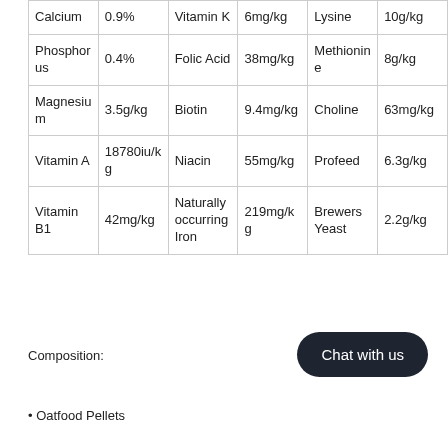| Calcium | 0.9% | Vitamin K | 6mg/kg | Lysine | 10g/kg |
| Phosphorus | 0.4% | Folic Acid | 38mg/kg | Methionine | 8g/kg |
| Magnesium | 3.5g/kg | Biotin | 9.4mg/kg | Choline | 63mg/kg |
| Vitamin A | 18780iu/kg | Niacin | 55mg/kg | Profeed | 6.3g/kg |
| Vitamin B1 | 42mg/kg | Naturally occurring Iron | 219mg/kg | Brewers Yeast | 2.2g/kg |
Composition:
Oatfood Pellets